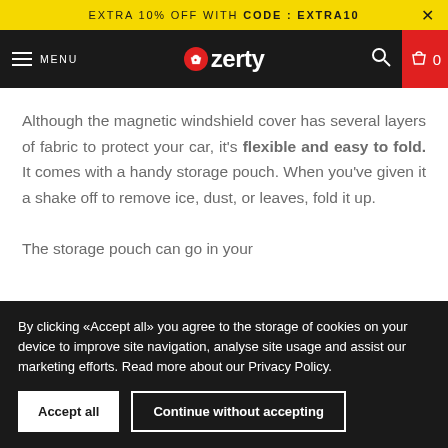EXTRA 10% OFF WITH CODE : EXTRA10
[Figure (logo): Ozerty website navigation bar with hamburger menu, Ozerty logo (red circle with thumb icon), search icon, and shopping cart showing 0 items]
Although the magnetic windshield cover has several layers of fabric to protect your car, it's flexible and easy to fold. It comes with a handy storage pouch. When you've given it a shake off to remove ice, dust, or leaves, fold it up.
The storage pouch can go in your
By clicking «Accept all» you agree to the storage of cookies on your device to improve site navigation, analyse site usage and assist our marketing efforts. Read more about our Privacy Policy.
Accept all | Continue without accepting